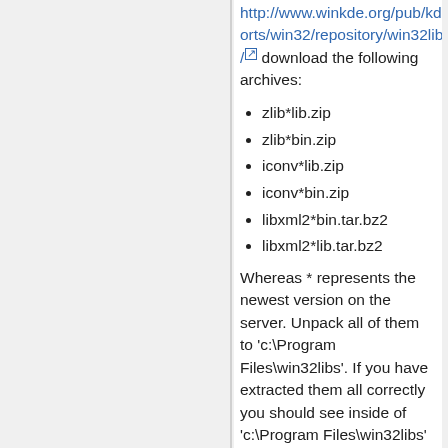http://www.winkde.org/pub/kde/ports/win32/repository/win32libs/ download the following archives:
zlib*lib.zip
zlib*bin.zip
iconv*lib.zip
iconv*bin.zip
libxml2*bin.tar.bz2
libxml2*lib.tar.bz2
Whereas * represents the newest version on the server. Unpack all of them to 'c:\Program Files\win32libs'. If you have extracted them all correctly you should see inside of 'c:\Program Files\win32libs' "include," bin," lib," and "manifest" folders. Note that you may also download the